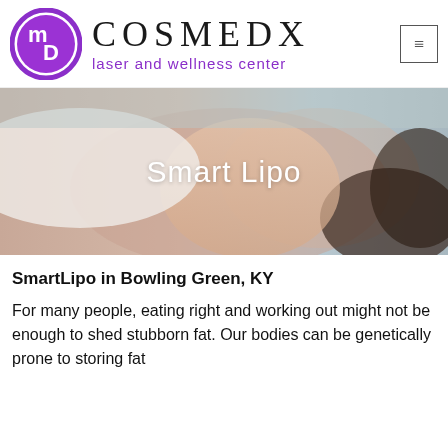[Figure (logo): COSMEDX laser and wellness center logo with circular purple md icon and stylized text]
[Figure (photo): Hero image of smiling woman lying down with white clothing, with text 'Smart Lipo' overlaid in white]
SmartLipo in Bowling Green, KY
For many people, eating right and working out might not be enough to shed stubborn fat.  Our bodies can be genetically prone to storing fat